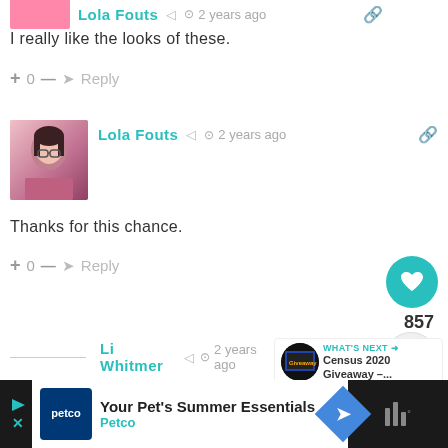Lola Fouts  2 years ago
I really like the looks of these.
+ 0 —  Reply
[Figure (photo): Avatar photo of Lola Fouts]
Lola Fouts  2 years ago
Thanks for this chance.
+ 0 —  Reply
857
Li Whitmer  2 years ago
No form...
WHAT'S NEXT → Census 2020 Giveaway –...
Your Pet's Summer Essentials Petco